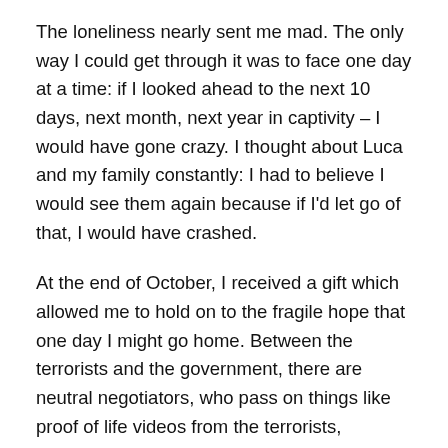The loneliness nearly sent me mad. The only way I could get through it was to face one day at a time: if I looked ahead to the next 10 days, next month, next year in captivity – I would have gone crazy. I thought about Luca and my family constantly: I had to believe I would see them again because if I'd let go of that, I would have crashed.
At the end of October, I received a gift which allowed me to hold on to the fragile hope that one day I might go home. Between the terrorists and the government, there are neutral negotiators, who pass on things like proof of life videos from the terrorists, negotiations from the government – and letters from home.
Inside a red envelope were two letters from friends in